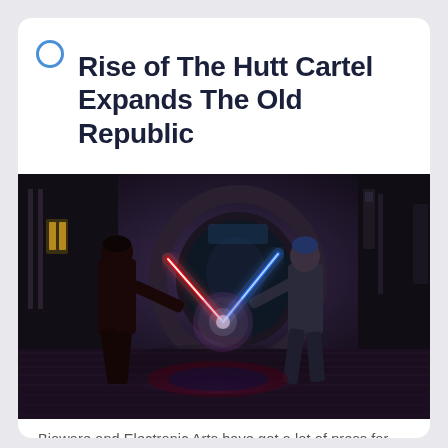Rise of The Hutt Cartel Expands The Old Republic
[Figure (screenshot): Two characters fighting with crossed lightsabers — one red, one blue — inside a dark sci-fi interior space. Screenshot from Star Wars: The Old Republic video game.]
Bioware and Electronic Arts have got a lot of press for